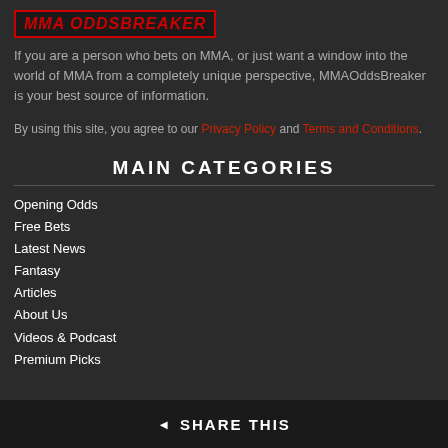[Figure (logo): MMA OddsBreaker logo in red bold italic text on dark background]
If you are a person who bets on MMA, or just want a window into the world of MMA from a completely unique perspective, MMAOddsBreaker is your best source of information.
By using this site, you agree to our Privacy Policy and Terms and Conditions.
MAIN CATEGORIES
Opening Odds
Free Bets
Latest News
Fantasy
Articles
About Us
Videos & Podcast
Premium Picks
SHARE THIS